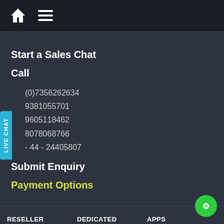Home / Menu navigation bar
Start a Sales Chat
Call
(0)7356262634
9381055701
9605118462
8078068766
- 44 - 24405807
Submit Enquiry
Payment Options
RESELLER HOSTING
Linux Reseller
DEDICATED SERVERS
APPS
Arrow Load